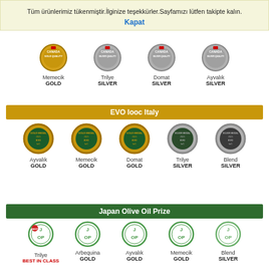Tüm ürünlerimiz tükenmiştir.İlginize teşekkürler.Sayfamızı lütfen takipte kalın.
Kapat
[Figure (other): Canada Gold Quality medal for Memecik]
[Figure (other): Canada Silver Quality medal for Trilye]
[Figure (other): Canada Silver Quality medal for Domat]
[Figure (other): Canada Silver Quality medal for Ayvalık]
EVO Iooc Italy
[Figure (other): EVO Iooc Italy Gold Medal for Ayvalık]
[Figure (other): EVO Iooc Italy Gold Medal for Memecik]
[Figure (other): EVO Iooc Italy Gold Medal for Domat]
[Figure (other): EVO Iooc Italy Silver Medal for Trilye]
[Figure (other): EVO Iooc Italy Silver Medal for Blend]
Japan Olive Oil Prize
[Figure (other): JOOP medal for Trilye - Best in Class]
[Figure (other): JOOP medal for Arbequina - Gold]
[Figure (other): JOOP medal for Ayvalık - Gold]
[Figure (other): JOOP medal for Memecik - Gold]
[Figure (other): JOOP medal for Blend - Silver]